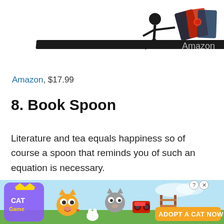[Figure (photo): Partial view of a bookend product showing a figure pushing against credit cards or books on a black base, cropped at top of page]
Amazon
Amazon, $17.99
8. Book Spoon
Literature and tea equals happiness so of course a spoon that reminds you of such an equation is necessary.
[Figure (photo): Advertisement banner for Cat Game mobile app with cartoon cats and 'ADOPT A CAT NOW' call to action button]